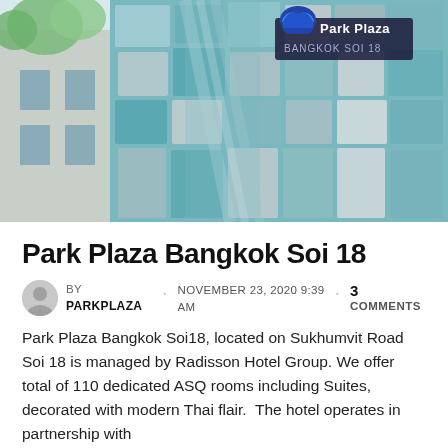[Figure (photo): Exterior photo of Park Plaza Bangkok Soi 18 hotel building with teal and grey patterned facade tiles and the Park Plaza logo sign on top]
Park Plaza Bangkok Soi 18
BY PARKPLAZA · NOVEMBER 23, 2020 9:39 AM · 3 COMMENTS
Park Plaza Bangkok Soi18, located on Sukhumvit Road Soi 18 is managed by Radisson Hotel Group. We offer total of 110 dedicated ASQ rooms including Suites, decorated with modern Thai flair.  The hotel operates in partnership with